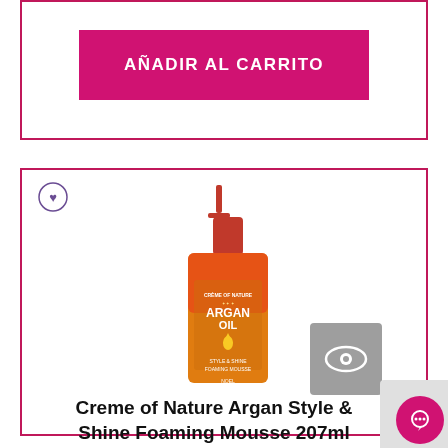[Figure (screenshot): Pink 'AÑADIR AL CARRITO' (Add to Cart) button inside a bordered card]
[Figure (photo): Product card showing Creme of Nature Argan Oil Style & Shine Foaming Mousse 207ml bottle with a heart/wishlist icon and an eye/quick-view icon]
Creme of Nature Argan Style & Shine Foaming Mousse 207ml